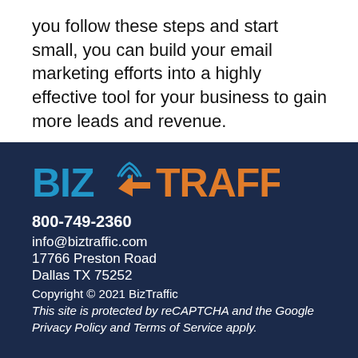you follow these steps and start small, you can build your email marketing efforts into a highly effective tool for your business to gain more leads and revenue.
[Figure (logo): BizTraffic logo with blue 'BIZ' text, orange arrow and wifi signal icon, and orange 'TRAFFIC' text on dark navy background]
800-749-2360
info@biztraffic.com
17766 Preston Road
Dallas TX 75252
Copyright © 2021 BizTraffic
This site is protected by reCAPTCHA and the Google Privacy Policy and Terms of Service apply.